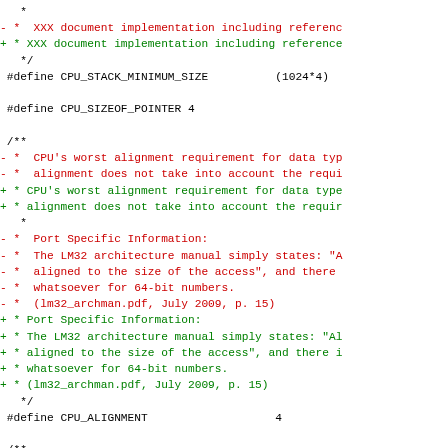Code diff showing changes to CPU definitions including CPU_STACK_MINIMUM_SIZE, CPU_SIZEOF_POINTER, and CPU_ALIGNMENT macros with associated comment updates.